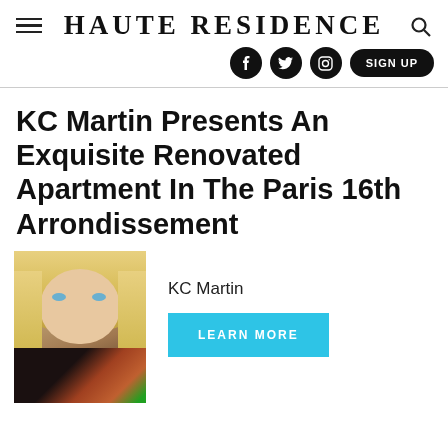Haute Residence
KC Martin Presents An Exquisite Renovated Apartment In The Paris 16th Arrondissement
KC Martin
[Figure (photo): Portrait photo of KC Martin, a blond woman]
LEARN MORE